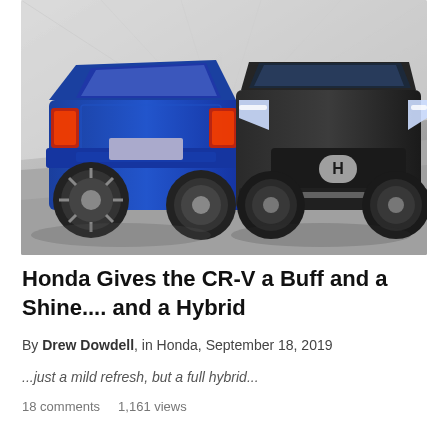[Figure (photo): Two Honda CR-V SUVs facing each other in a modern tunnel/showroom setting — a blue one from the rear and a dark grey/black one from the front.]
Honda Gives the CR-V a Buff and a Shine.... and a Hybrid
By Drew Dowdell, in Honda, September 18, 2019
...just a mild refresh, but a full hybrid...
18 comments    1,161 views